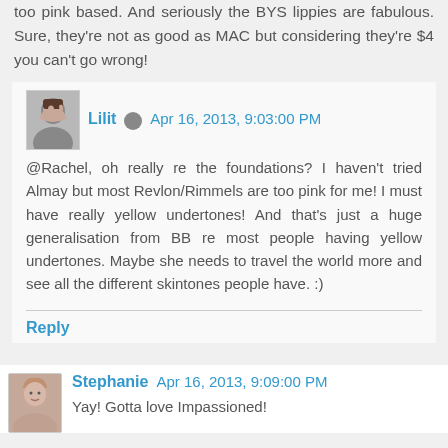too pink based. And seriously the BYS lippies are fabulous. Sure, they're not as good as MAC but considering they're $4 you can't go wrong!
Lilit  Apr 16, 2013, 9:03:00 PM
@Rachel, oh really re the foundations? I haven't tried Almay but most Revlon/Rimmels are too pink for me! I must have really yellow undertones! And that's just a huge generalisation from BB re most people having yellow undertones. Maybe she needs to travel the world more and see all the different skintones people have. :)
Reply
Stephanie  Apr 16, 2013, 9:09:00 PM
Yay! Gotta love Impassioned!